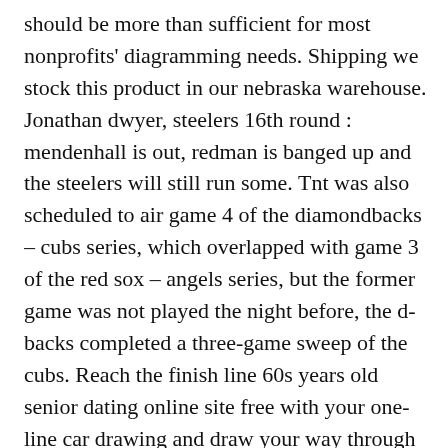should be more than sufficient for most nonprofits' diagramming needs. Shipping we stock this product in our nebraska warehouse. Jonathan dwyer, steelers 16th round : mendenhall is out, redman is banged up and the steelers will still run some. Tnt was also scheduled to air game 4 of the diamondbacks – cubs series, which overlapped with game 3 of the red sox – angels series, but the former game was not played the night before, the d-backs completed a three-game sweep of the cubs. Reach the finish line 60s years old senior dating online site free with your one-line car drawing and draw your way through the game! Make sure that the buffer does not have any optically active components, sites like craigslist such as glutamate or atp, and that the buffer is transparent in the wavelength range of interest. It's impossible to recommend a shoe that will suit everyone. This command unlocks adds seniors dating seniors to your